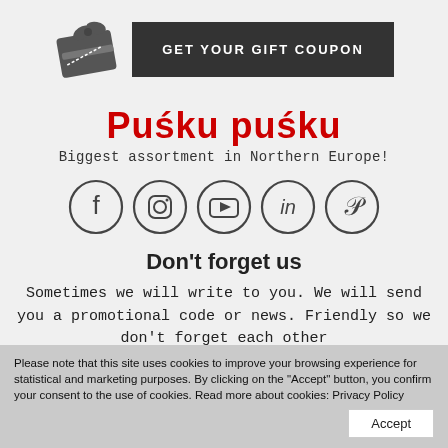[Figure (illustration): Gift card icon with ribbon and bow, dark gray color, next to a dark button labeled GET YOUR GIFT COUPON]
[Figure (logo): Pusku pusku brand logo in red bold text]
Biggest assortment in Northern Europe!
[Figure (illustration): Row of social media icons in circles: Facebook, Instagram, YouTube, LinkedIn, Pinterest]
Don't forget us
Sometimes we will write to you. We will send you a promotional code or news. Friendly so we don't forget each other
Please note that this site uses cookies to improve your browsing experience for statistical and marketing purposes. By clicking on the "Accept" button, you confirm your consent to the use of cookies. Read more about cookies: Privacy Policy